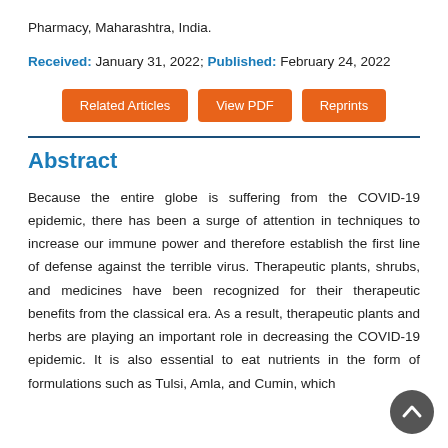Pharmacy, Maharashtra, India.
Received: January 31, 2022; Published: February 24, 2022
Abstract
Because the entire globe is suffering from the COVID-19 epidemic, there has been a surge of attention in techniques to increase our immune power and therefore establish the first line of defense against the terrible virus. Therapeutic plants, shrubs, and medicines have been recognized for their therapeutic benefits from the classical era. As a result, therapeutic plants and herbs are playing an important role in decreasing the COVID-19 epidemic. It is also essential to eat nutrients in the form of formulations such as Tulsi, Amla, and Cumin, which